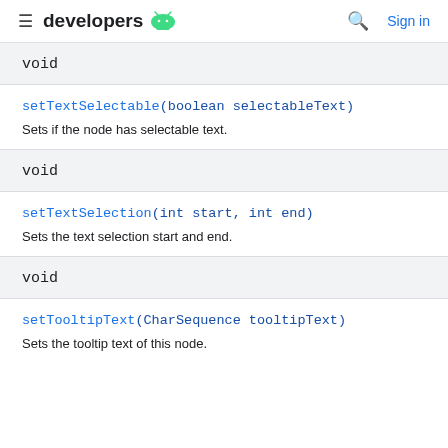developers [android logo] [search] Sign in
void
setTextSelectable(boolean selectableText)
Sets if the node has selectable text.
void
setTextSelection(int start, int end)
Sets the text selection start and end.
void
setTooltipText(CharSequence tooltipText)
Sets the tooltip text of this node.